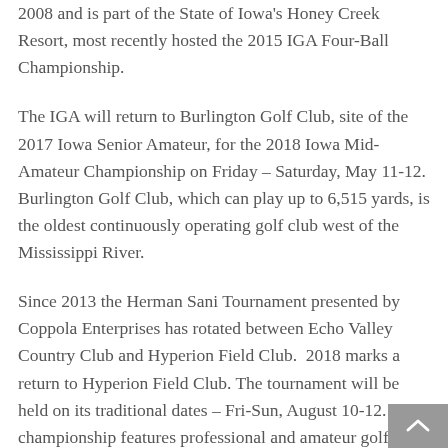2008 and is part of the State of Iowa's Honey Creek Resort, most recently hosted the 2015 IGA Four-Ball Championship.
The IGA will return to Burlington Golf Club, site of the 2017 Iowa Senior Amateur, for the 2018 Iowa Mid-Amateur Championship on Friday – Saturday, May 11-12. Burlington Golf Club, which can play up to 6,515 yards, is the oldest continuously operating golf club west of the Mississippi River.
Since 2013 the Herman Sani Tournament presented by Coppola Enterprises has rotated between Echo Valley Country Club and Hyperion Field Club.  2018 marks a return to Hyperion Field Club. The tournament will be held on its traditional dates – Fri-Sun, August 10-12. The championship features professional and amateur golfers with proceeds from the tournament going to the IGA's Herman Sani Scholarship Fund.